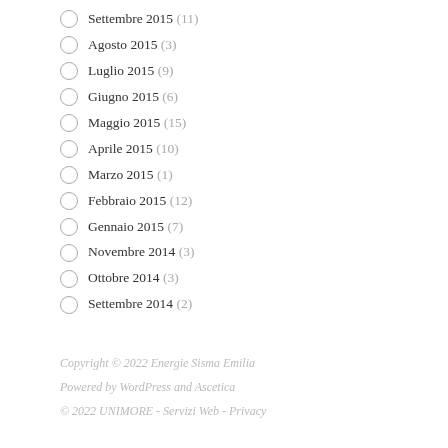Settembre 2015 (11)
Agosto 2015 (3)
Luglio 2015 (9)
Giugno 2015 (6)
Maggio 2015 (15)
Aprile 2015 (10)
Marzo 2015 (1)
Febbraio 2015 (12)
Gennaio 2015 (7)
Novembre 2014 (3)
Ottobre 2014 (3)
Settembre 2014 (2)
Copyright © 2022 Energie Sisma Emilia
Powered by WordPress and Ascetica
© 2022 UNIMORE - Servizi Web - Privacy